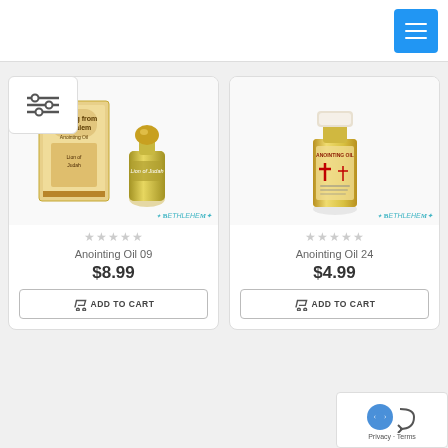[Figure (screenshot): Menu/hamburger button in blue square top right]
[Figure (photo): Product image: Anointing Oil 09 - Lion of Judah box with small yellow bottle]
★★★★★
Anointing Oil 09
$8.99
ADD TO CART
[Figure (photo): Product image: Anointing Oil 24 - clear bottle with label]
★★★★★
Anointing Oil 24
$4.99
ADD TO CART